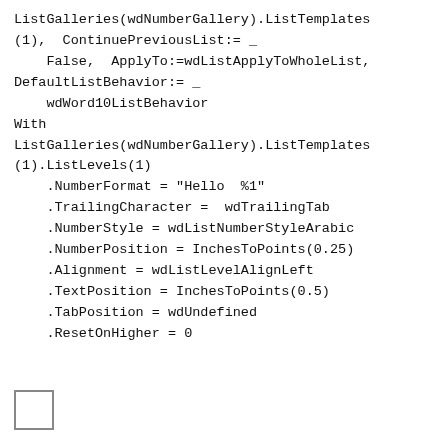ListGalleries(wdNumberGallery).ListTemplates(1),  ContinuePreviousList:= _
    False,  ApplyTo:=wdListApplyToWholeList,
DefaultListBehavior:= _
    wdWord10ListBehavior
With
ListGalleries(wdNumberGallery).ListTemplates(1).ListLevels(1)
    .NumberFormat = "Hello  %1"
    .TrailingCharacter =  wdTrailingTab
    .NumberStyle = wdListNumberStyleArabic
    .NumberPosition = InchesToPoints(0.25)
    .Alignment = wdListLevelAlignLeft
    .TextPosition = InchesToPoints(0.5)
    .TabPosition = wdUndefined
    .ResetOnHigher = 0